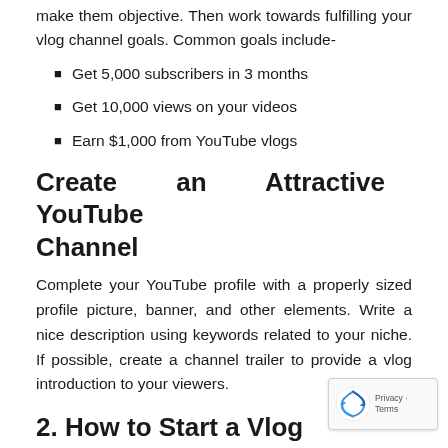make them objective. Then work towards fulfilling your vlog channel goals. Common goals include-
Get 5,000 subscribers in 3 months
Get 10,000 views on your videos
Earn $1,000 from YouTube vlogs
Create an Attractive YouTube Channel
Complete your YouTube profile with a properly sized profile picture, banner, and other elements. Write a nice description using keywords related to your niche. If possible, create a channel trailer to provide a vlog introduction to your viewers.
2. How to Start a Vlog Channel Content and Publishing